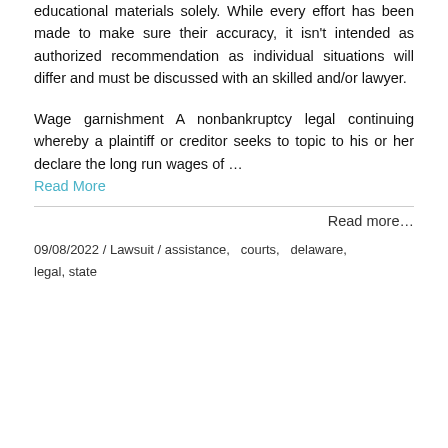educational materials solely. While every effort has been made to make sure their accuracy, it isn't intended as authorized recommendation as individual situations will differ and must be discussed with an skilled and/or lawyer.
Wage garnishment A nonbankruptcy legal continuing whereby a plaintiff or creditor seeks to topic to his or her declare the long run wages of … Read More
Read more…
09/08/2022 / Lawsuit / assistance, courts, delaware, legal, state